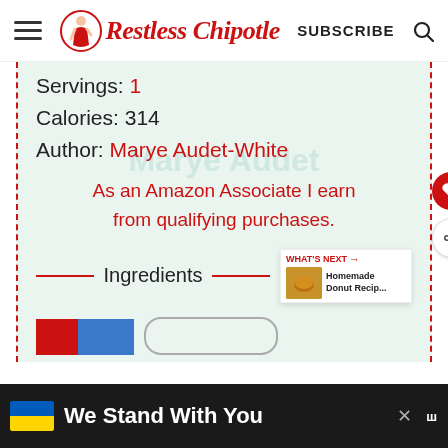Restless Chipotle — SUBSCRIBE
Servings: 1
Calories: 314
Author: Marye Audet-White
As an Amazon Associate I earn from qualifying purchases.
Ingredients
We Stand With You